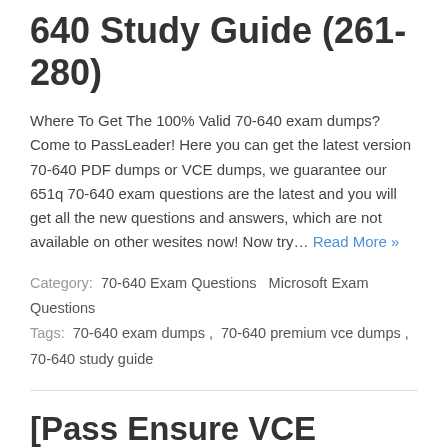640 Study Guide (261-280)
Where To Get The 100% Valid 70-640 exam dumps? Come to PassLeader! Here you can get the latest version 70-640 PDF dumps or VCE dumps, we guarantee our 651q 70-640 exam questions are the latest and you will get all the new questions and answers, which are not available on other wesites now! Now try… Read More »
Category:  70-640 Exam Questions  Microsoft Exam Questions
Tags:  70-640 exam dumps ,  70-640 premium vce dumps ,  70-640 study guide
[Pass Ensure VCE Dumps] New 651q 70-640 Practice Test With Free VCE Share